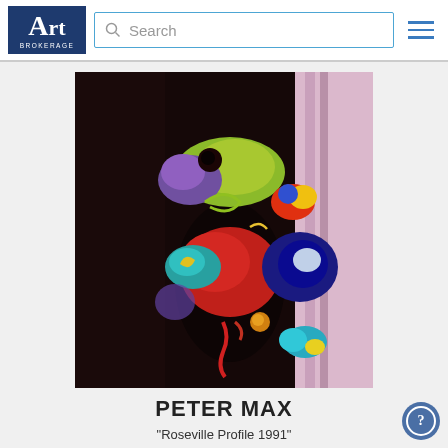Art Brokerage — Search
[Figure (photo): Colorful abstract painting by Peter Max showing a dark figure with vibrant multi-colored floral and swirling elements in red, yellow, blue, teal, purple on a dark background with pink accents on the right side]
PETER MAX
"Roseville Profile 1991"